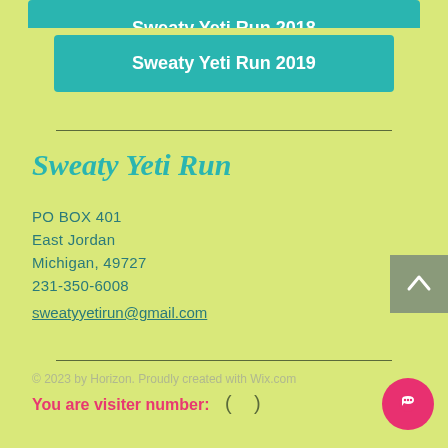Sweaty Yeti Run 2019
Sweaty Yeti Run
PO BOX 401
East Jordan
Michigan, 49727
231-350-6008
sweatyyetirun@gmail.com
© 2023 by Horizon. Proudly created with Wix.com
You are visiter number: